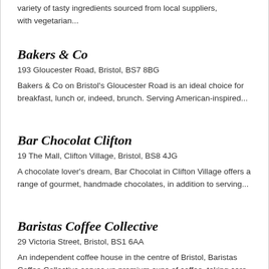variety of tasty ingredients sourced from local suppliers, with vegetarian...
Bakers & Co
193 Gloucester Road, Bristol, BS7 8BG
Bakers & Co on Bristol's Gloucester Road is an ideal choice for breakfast, lunch or, indeed, brunch. Serving American-inspired...
Bar Chocolat Clifton
19 The Mall, Clifton Village, Bristol, BS8 4JG
A chocolate lover's dream, Bar Chocolat in Clifton Village offers a range of gourmet, handmade chocolates, in addition to serving...
Baristas Coffee Collective
29 Victoria Street, Bristol, BS1 6AA
An independent coffee house in the centre of Bristol, Baristas Coffee Collective serves up premium cups of coffee, taking care to provide...